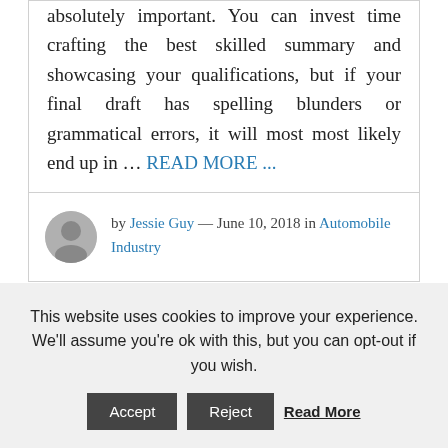absolutely important. You can invest time crafting the best skilled summary and showcasing your qualifications, but if your final draft has spelling blunders or grammatical errors, it will most most likely end up in … READ MORE ...
by Jessie Guy — June 10, 2018 in Automobile Industry
This website uses cookies to improve your experience. We'll assume you're ok with this, but you can opt-out if you wish.